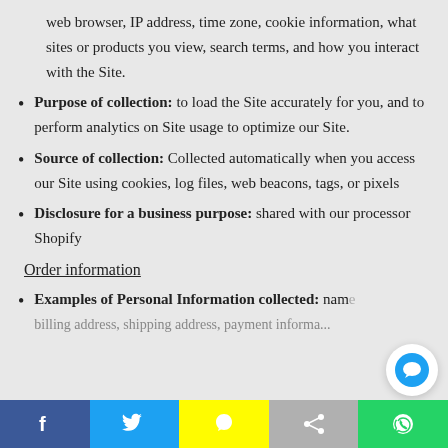web browser, IP address, time zone, cookie information, what sites or products you view, search terms, and how you interact with the Site.
Purpose of collection: to load the Site accurately for you, and to perform analytics on Site usage to optimize our Site.
Source of collection: Collected automatically when you access our Site using cookies, log files, web beacons, tags, or pixels
Disclosure for a business purpose: shared with our processor Shopify
Order information
Examples of Personal Information collected: name, billing address, shipping address, payment information...